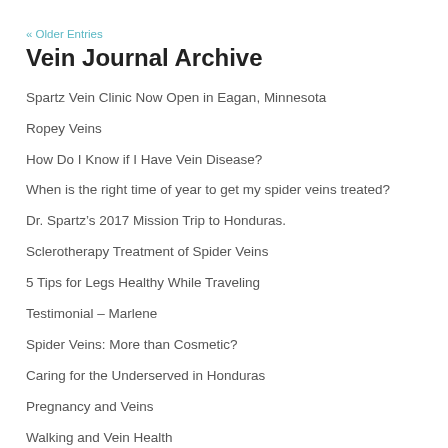« Older Entries
Vein Journal Archive
Spartz Vein Clinic Now Open in Eagan, Minnesota
Ropey Veins
How Do I Know if I Have Vein Disease?
When is the right time of year to get my spider veins treated?
Dr. Spartz’s 2017 Mission Trip to Honduras.
Sclerotherapy Treatment of Spider Veins
5 Tips for Legs Healthy While Traveling
Testimonial – Marlene
Spider Veins: More than Cosmetic?
Caring for the Underserved in Honduras
Pregnancy and Veins
Walking and Vein Health